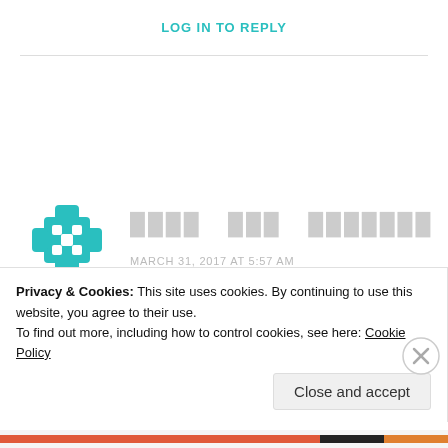LOG IN TO REPLY
████ ███ ███████
MARCH 31, 2017 AT 5:57 AM
█████████████████████████████████████████████████████
████████████████████████████████████████████████████
Privacy & Cookies: This site uses cookies. By continuing to use this website, you agree to their use.
To find out more, including how to control cookies, see here: Cookie Policy
Close and accept